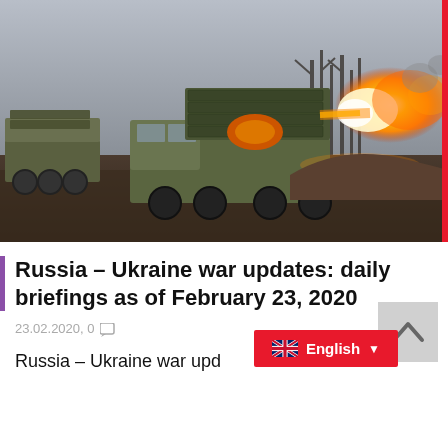[Figure (photo): Military rocket launcher truck (BM-21 Grad or similar MLRS) firing rockets in a field with smoke and flame, overcast sky, bare trees in background, soldiers visible at left]
Russia – Ukraine war updates: daily briefings as of February 23, 2020
23.02.2020, 0
Russia – Ukraine war upd… r zone